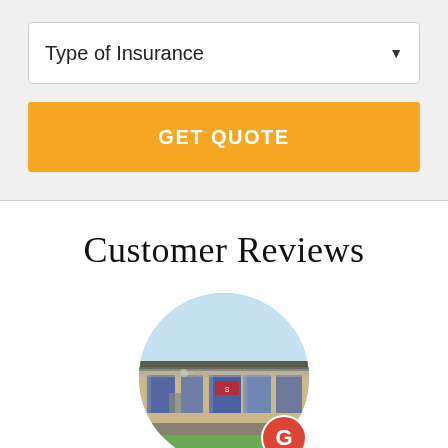Type of Insurance
GET QUOTE
Customer Reviews
[Figure (photo): Circular profile image showing a commercial building storefront with a Google badge overlay in the bottom-right corner]